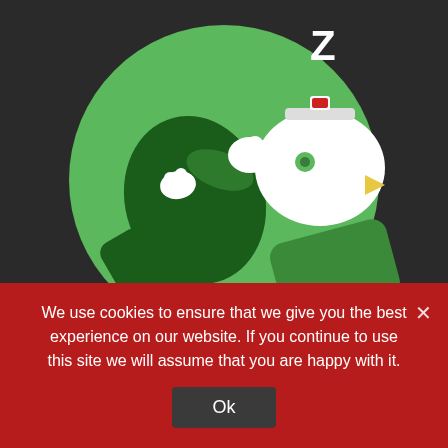[Figure (illustration): A circular green illustration showing a sleeping cartoon character (dark green body/clothes) lying on a green pillow with a white bird-like head. A white 'Z' above indicates sleep.]
Once you have harvested your precious Night Nurse strain, she will tuck you in and put you to bed like a baby. The Night Nurse high is very peaceful. This strain is commonly used to fight anxiety, stress, insomnia and chronic pain. The 80/20 indica provides a polite balance of relaxing cerebral and body effects, making this the
We use cookies to ensure that we give you the best experience on our website. If you continue to use this site we will assume that you are happy with it.